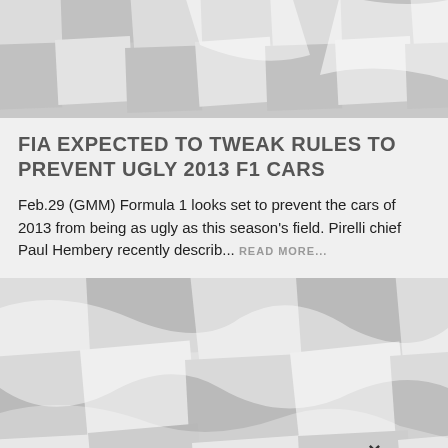[Figure (illustration): Checkered racing flag pattern in gray and white, wavy/rippled]
FIA EXPECTED TO TWEAK RULES TO PREVENT UGLY 2013 F1 CARS
Feb.29 (GMM) Formula 1 looks set to prevent the cars of 2013 from being as ugly as this season's field. Pirelli chief Paul Hembery recently describ... READ MORE...
[Figure (illustration): Checkered racing flag pattern in gray and white, wavy/rippled, with a small × symbol]